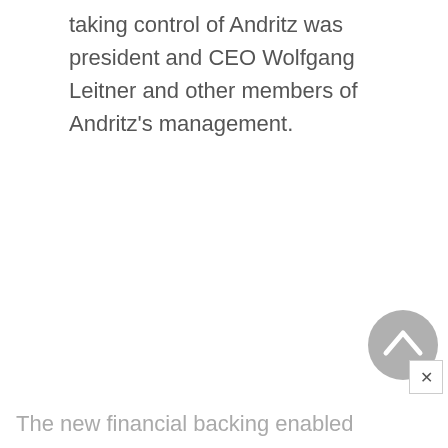taking control of Andritz was president and CEO Wolfgang Leitner and other members of Andritz's management.
The new financial backing enabled